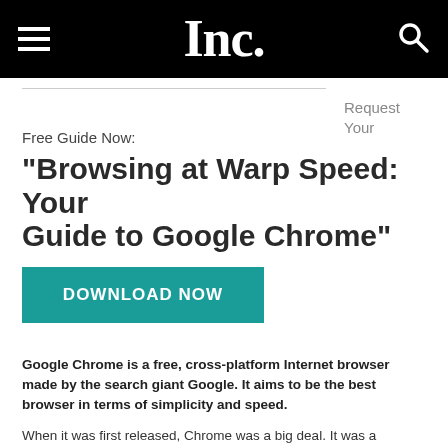Inc.
Request Your Free Guide Now:
"Browsing at Warp Speed: Your Guide to Google Chrome"
DOWNLOAD NOW
Google Chrome is a free, cross-platform Internet browser made by the search giant Google. It aims to be the best browser in terms of simplicity and speed.
When it was first released, Chrome was a big deal. It was a different beast to the other browsers: it focused on browsing - it got out of your way and let you look at the webpage. If you didn't